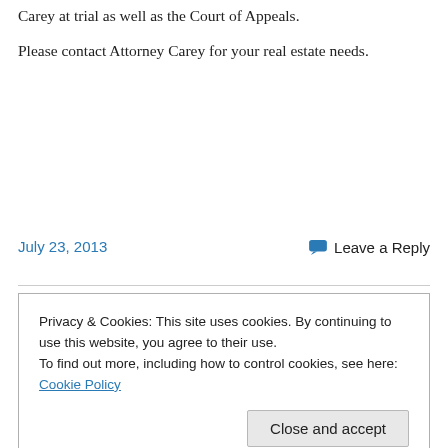Carey at trial as well as the Court of Appeals.
Please contact Attorney Carey for your real estate needs.
July 23, 2013
Leave a Reply
Privacy & Cookies: This site uses cookies. By continuing to use this website, you agree to their use. To find out more, including how to control cookies, see here: Cookie Policy
Close and accept